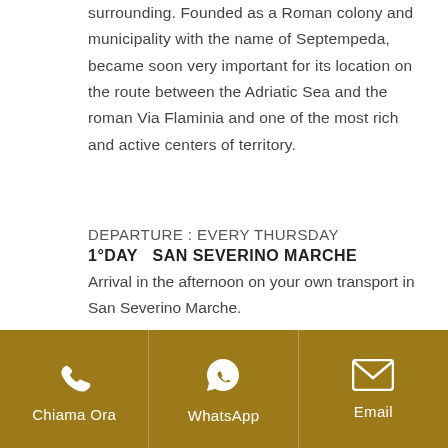surrounding. Founded as a Roman colony and municipality with the name of Septempeda, became soon very important for its location on the route between the Adriatic Sea and the roman Via Flaminia and one of the most rich and active centers of territory.
DEPARTURE : EVERY THURSDAY
1°DAY  SAN SEVERINO MARCHE
Arrival in the afternoon on your own transport in San Severino Marche.
Chiama Ora | WhatsApp | Email